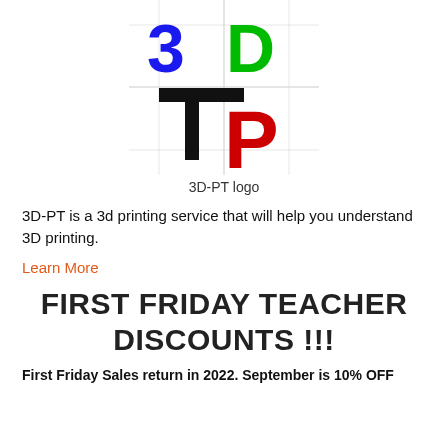[Figure (logo): 3D-PT logo with blue '3', green 'D', black and red 'P' and 'T' letters arranged in a 2x2 grid with grid lines]
3D-PT logo
3D-PT is a 3d printing service that will help you understand 3D printing.
Learn More
FIRST FRIDAY TEACHER DISCOUNTS !!!
First Friday Sales return in 2022. September is 10% OFF